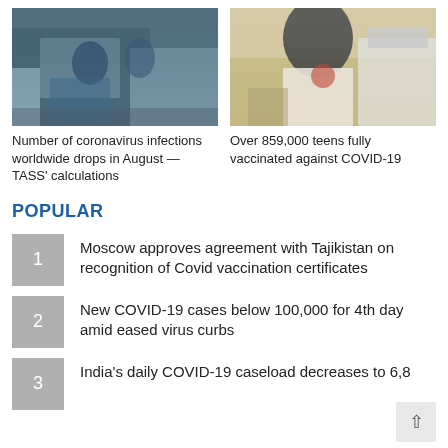[Figure (photo): Medical workers in blue protective gear attending to a patient in a hospital room]
Number of coronavirus infections worldwide drops in August — TASS' calculations
[Figure (photo): Person receiving a vaccine injection in a medical clinic room, viewed from behind]
Over 859,000 teens fully vaccinated against COVID-19
POPULAR
Moscow approves agreement with Tajikistan on recognition of Covid vaccination certificates
New COVID-19 cases below 100,000 for 4th day amid eased virus curbs
India's daily COVID-19 caseload decreases to 6,8